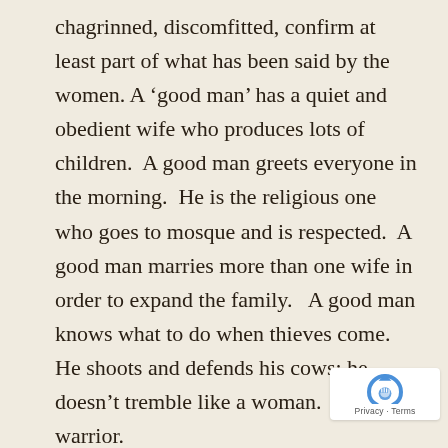chagrinned, discomfitted, confirm at least part of what has been said by the women. A ‘good man’ has a quiet and obedient wife who produces lots of children.  A good man greets everyone in the morning.  He is the religious one who goes to mosque and is respected.  A good man marries more than one wife in order to expand the family.   A good man knows what to do when thieves come.  He shoots and defends his cows; he doesn’t tremble like a woman.   He is a warrior.
Later, in same-gender triads, the men